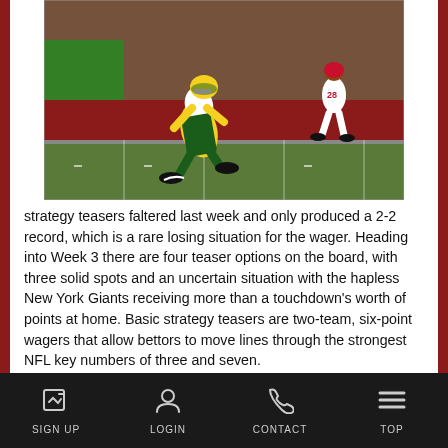[Figure (photo): NFL football player in green and yellow uniform (Green Bay Packers) running on the field, with a player in red (Atlanta Falcons, number 28) in the background]
strategy teasers faltered last week and only produced a 2-2 record, which is a rare losing situation for the wager. Heading into Week 3 there are four teaser options on the board, with three solid spots and an uncertain situation with the hapless New York Giants receiving more than a touchdown's worth of points at home. Basic strategy teasers are two-team, six-point wagers that allow bettors to move lines through the strongest NFL key numbers of three and seven.
Let's take a closer look at the four teaser options for
SIGN UP   LOGIN   CONTACT   TOP